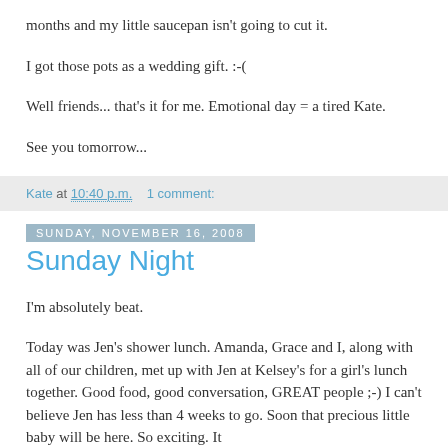months and my little saucepan isn't going to cut it.
I got those pots as a wedding gift. :-(
Well friends... that's it for me. Emotional day = a tired Kate.
See you tomorrow...
Kate at 10:40 p.m.    1 comment:
Sunday, November 16, 2008
Sunday Night
I'm absolutely beat.
Today was Jen's shower lunch. Amanda, Grace and I, along with all of our children, met up with Jen at Kelsey's for a girl's lunch together. Good food, good conversation, GREAT people ;-) I can't believe Jen has less than 4 weeks to go. Soon that precious little baby will be here. So exciting. It